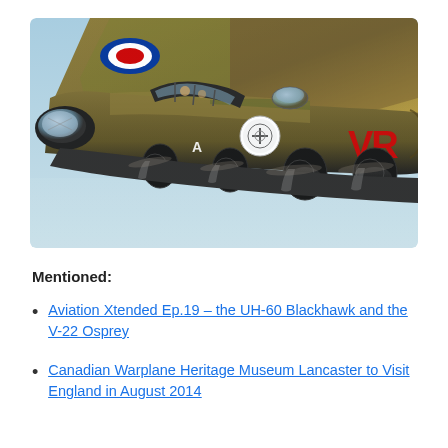[Figure (photo): Close-up photograph of a World War II Lancaster bomber aircraft in flight against a blue sky. The aircraft shows green/tan camouflage paint, black undersides, RAF roundel on the wing, letters 'VR' in red on the fuselage, and letter 'A' visible near the nose. Multiple radial engines with propellers are visible.]
Mentioned:
Aviation Xtended Ep.19 – the UH-60 Blackhawk and the V-22 Osprey
Canadian Warplane Heritage Museum Lancaster to Visit England in August 2014